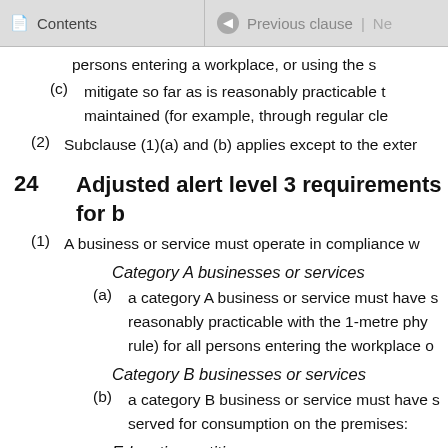Contents | Previous clause | Ne
persons entering a workplace, or using the s
(c) mitigate so far as is reasonably practicable t maintained (for example, through regular cle
(2) Subclause (1)(a) and (b) applies except to the exter
24 Adjusted alert level 3 requirements for b
(1) A business or service must operate in compliance w
Category A businesses or services
(a) a category A business or service must have s reasonably practicable with the 1-metre phy rule) for all persons entering the workplace
Category B businesses or services
(b) a category B business or service must have s served for consumption on the premises:
Education entities
(c) an education entity must have systems and p
(i) maintain compliance so far as is reaso